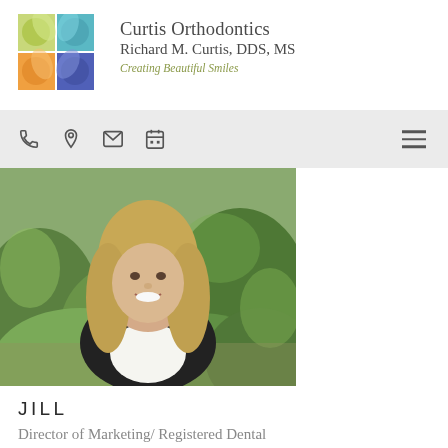[Figure (logo): Curtis Orthodontics logo: 2x2 grid of colored leaf/petal quadrants (green, teal, orange, purple-blue) with practice name and tagline]
Curtis Orthodontics
Richard M. Curtis, DDS, MS
Creating Beautiful Smiles
[Figure (other): Navigation bar with phone, location pin, envelope, and calendar icons on left; hamburger menu icon on right; gray background]
[Figure (photo): Headshot photo of Jill, a smiling blonde woman wearing a black jacket and white shirt, standing in front of green foliage outdoors]
JILL
Director of Marketing/ Registered Dental Assistant